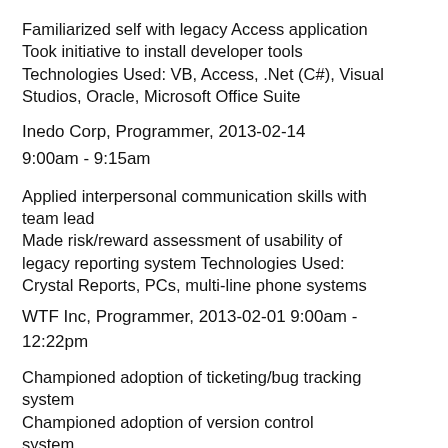Familiarized self with legacy Access application
Took initiative to install developer tools
Technologies Used: VB, Access, .Net (C#), Visual Studios, Oracle, Microsoft Office Suite
Inedo Corp, Programmer, 2013-02-14
9:00am - 9:15am
Applied interpersonal communication skills with team lead
Made risk/reward assessment of usability of legacy reporting system Technologies Used: Crystal Reports, PCs, multi-line phone systems
WTF Inc, Programmer, 2013-02-01 9:00am -
12:22pm
Championed adoption of ticketing/bug tracking system
Championed adoption of version control system
Championed adoption of integrated development environment Technologies Used: BugTrac, JIRA, Bugzilla, a shared Word document, Hg, SVN, CSV, Source Safe, a shared